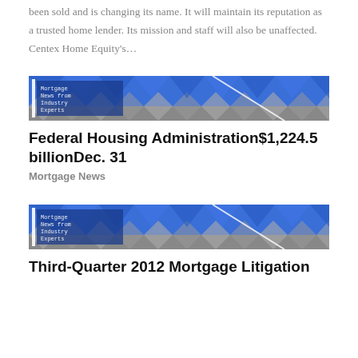been sold and is changing its name. It will maintain its reputation as a trusted home lender. Its mission and staff will also be unaffected. Centex Home Equity's…
[Figure (illustration): Mortgage News from Industry Experts banner image with blue geometric diamond pattern background and white text]
Federal Housing Administration$1,224.5 billionDec. 31
Mortgage News
[Figure (illustration): Mortgage News from Industry Experts banner image with blue geometric diamond pattern background and white text]
Third-Quarter 2012 Mortgage Litigation